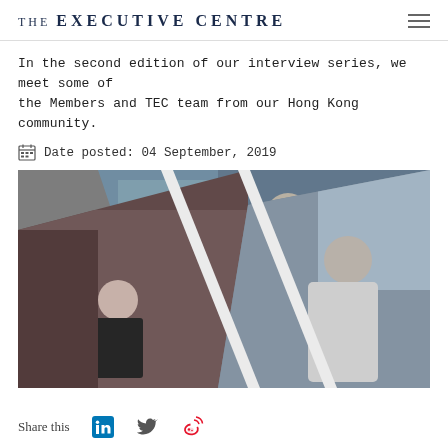THE EXECUTIVE CENTRE
In the second edition of our interview series, we meet some of the Members and TEC team from our Hong Kong community.
Date posted: 04 September, 2019
[Figure (photo): Collage of three photos showing members and TEC team from Hong Kong community: a woman in black suit smiling (bottom left), a man in blue shirt seated and talking (center top), and a man in white shirt seated (right).]
Share this